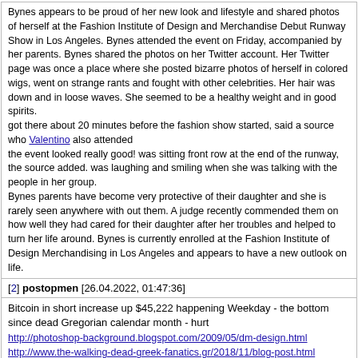Bynes appears to be proud of her new look and lifestyle and shared photos of herself at the Fashion Institute of Design and Merchandise Debut Runway Show in Los Angeles. Bynes attended the event on Friday, accompanied by her parents. Bynes shared the photos on her Twitter account. Her Twitter page was once a place where she posted bizarre photos of herself in colored wigs, went on strange rants and fought with other celebrities. Her hair was down and in loose waves. She seemed to be a healthy weight and in good spirits.
got there about 20 minutes before the fashion show started, said a source who Valentino also attended
the event looked really good! was sitting front row at the end of the runway, the source added. was laughing and smiling when she was talking with the people in her group.
Bynes parents have become very protective of their daughter and she is rarely seen anywhere with out them. A judge recently commended them on how well they had cared for their daughter after her troubles and helped to turn her life around. Bynes is currently enrolled at the Fashion Institute of Design Merchandising in Los Angeles and appears to have a new outlook on life.
[2] postopmen [26.04.2022, 01:47:36]
Bitcoin in short increase up $45,222 happening Weekday - the bottom since dead Gregorian calendar month - hurt
http://photoshop-background.blogspot.com/2009/05/dm-design.html
http://www.the-walking-dead-greek-fanatics.gr/2018/11/blog-post.html
http://planetatecuidaremos.blogspot.com/2010....io.html
http://forums.panzergrenadiers.com/member.php?u=907
http://beta.lekhafoods.com/special....ts.aspx
http://globalsoftbay.blogspot.com/2012.....al.html
http://chem-solutions-9701.blogspot.com/2016.....st.html
http://rapool.kz/index.php?subaction=userinfo&user=yhagi
http://xn--80ahjcbib4aul.xn--p1ai/profile.php?lookup=7070
http://newshots.ru/index.php?subaction=userinfo&user=ajypuzi
http://streetball.in.ua/index.php?subaction=userinfo&user=uzumyka
http://osvita.ch.ua/index.php?subaction=userinfo&user=eledysap
http://5-ileaud.mektebi.kz/o-detskom-sade/prepodavateli/34-zhym.html
http://autoparts.kz/index.php?subaction=userinfo&user=asijawo
http://favoritekiev.com/index.php?subaction=userinfo&user=yrivoso
[3] MichaelcrypE [19.05.2022, 21:22:36]